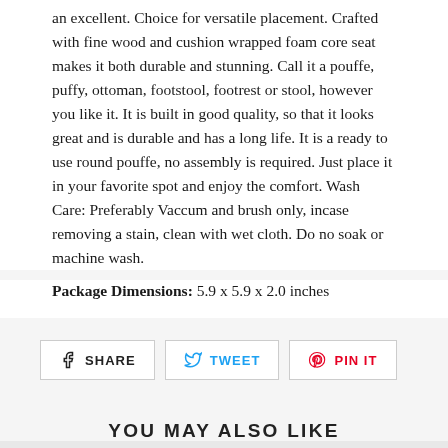an excellent. Choice for versatile placement. Crafted with fine wood and cushion wrapped foam core seat makes it both durable and stunning. Call it a pouffe, puffy, ottoman, footstool, footrest or stool, however you like it. It is built in good quality, so that it looks great and is durable and has a long life. It is a ready to use round pouffe, no assembly is required. Just place it in your favorite spot and enjoy the comfort. Wash Care: Preferably Vaccum and brush only, incase removing a stain, clean with wet cloth. Do no soak or machine wash.
Package Dimensions: 5.9 x 5.9 x 2.0 inches
[Figure (other): Social share buttons: SHARE (Facebook), TWEET (Twitter), PIN IT (Pinterest)]
YOU MAY ALSO LIKE